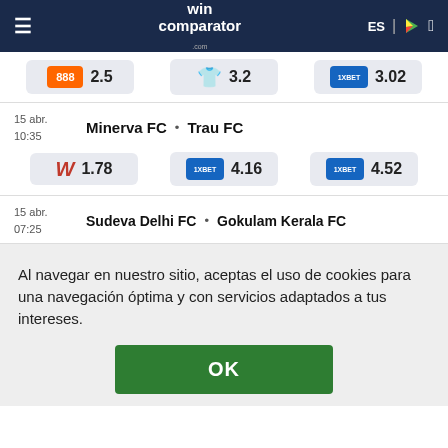wincomparator.com — ES
| Casa | Empate | Visitante |
| --- | --- | --- |
| 888 2.5 | 3.2 | 1xBET 3.02 |
15 abr. 10:35  Minerva FC • Trau FC
| Casa | Empate | Visitante |
| --- | --- | --- |
| W 1.78 | 1xBET 4.16 | 1xBET 4.52 |
15 abr. 07:25  Sudeva Delhi FC • Gokulam Kerala FC
Al navegar en nuestro sitio, aceptas el uso de cookies para una navegación óptima y con servicios adaptados a tus intereses.
OK